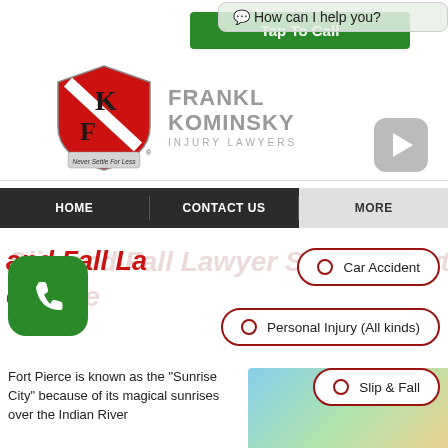[Figure (screenshot): Green 'Tap To Call' button]
[Figure (screenshot): Chat bubble: How can I help you?]
[Figure (logo): Frankl Kominsky Injury Lawyers shield logo with text]
[Figure (other): Video play button (grey rounded rectangle)]
HOME   CONTACT US   MORE
Slip and Fall Lawyer Serving Fort Pierce
[Figure (other): Green phone icon button]
Car Accident
Personal Injury (All kinds)
Slip & Fall
Fort Pierce is known as the “Sunrise City” because of its magical sunrises over the Indian River